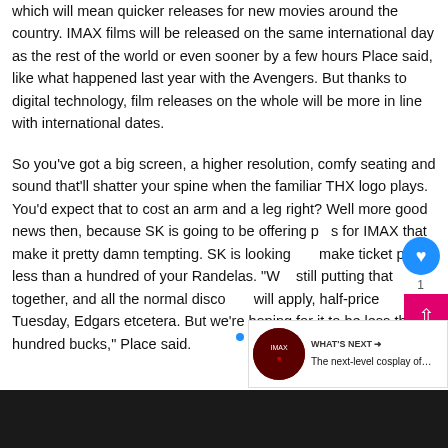which will mean quicker releases for new movies around the country. IMAX films will be released on the same international day as the rest of the world or even sooner by a few hours Place said, like what happened last year with the Avengers. But thanks to digital technology, film releases on the whole will be more in line with international dates.
So you've got a big screen, a higher resolution, comfy seating and sound that'll shatter your spine when the familiar THX logo plays. You'd expect that to cost an arm and a leg right? Well more good news then, because SK is going to be offering prices for IMAX that make it pretty damn tempting. SK is looking to make ticket prices less than a hundred of your Randelas. "We're still putting that together, and all the normal discounts will apply, half-price Tuesday, Edgars etcetera. But we're hoping for it to be less than a hundred bucks," Place said.